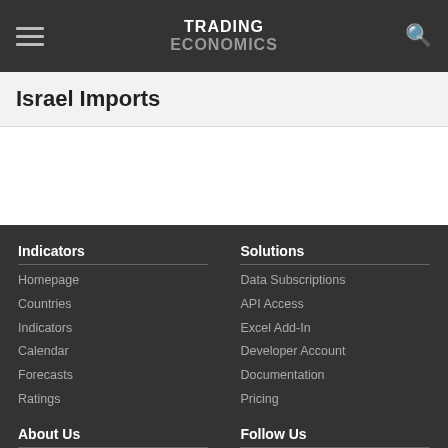TRADING ECONOMICS
Israel Imports
Indicators
Homepage
Countries
Indicators
Calendar
Forecasts
Ratings
Solutions
Data Subscriptions
API Access
Excel Add-In
Developer Account
Documentation
Pricing
About Us
Customers
Follow Us
Twitter